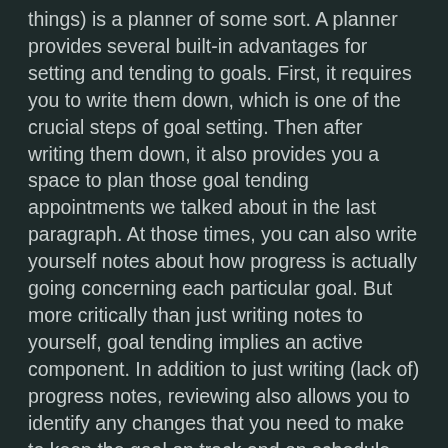things) is a planner of some sort. A planner provides several built-in advantages for setting and tending to goals. First, it requires you to write them down, which is one of the crucial steps of goal setting. Then after writing them down, it also provides you a space to plan those goal tending appointments we talked about in the last paragraph. At those times, you can also write yourself notes about how progress is actually going concerning each particular goal. But more critically than just writing notes to yourself, goal tending implies an active component. In addition to just writing (lack of) progress notes, reviewing also allows you to identify any changes that you need to make to keep the goal on track and on schedule.
While anyone can get lucky, those who are actually successful are those who actively practice both setting and tending to their goals. If you want to advance your life, it is vital to get into the habit of setting and tending to your own goals. Start by identifying things you may have contemplated at an earlier time in life and write them down. Compare them to reality to see how many of those goals you've already accomplished, how many you still want to accomplish, and